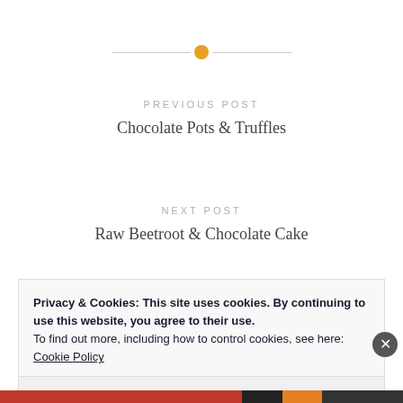[Figure (illustration): Horizontal decorative divider with an orange/gold circle dot in the center and thin gray lines extending on each side]
PREVIOUS POST
Chocolate Pots & Truffles
NEXT POST
Raw Beetroot & Chocolate Cake
Privacy & Cookies: This site uses cookies. By continuing to use this website, you agree to their use.
To find out more, including how to control cookies, see here:
Cookie Policy
Close and accept